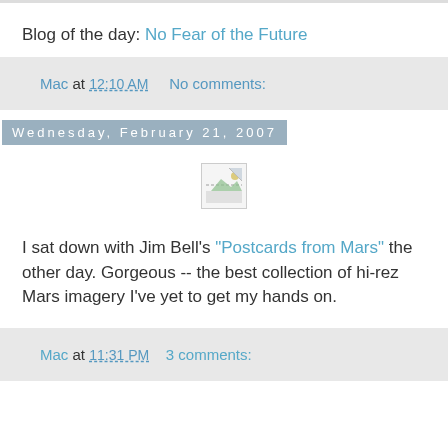Blog of the day: No Fear of the Future
Mac at 12:10 AM   No comments:
Wednesday, February 21, 2007
[Figure (illustration): Broken image placeholder icon]
I sat down with Jim Bell's "Postcards from Mars" the other day. Gorgeous -- the best collection of hi-rez Mars imagery I've yet to get my hands on.
Mac at 11:31 PM   3 comments: